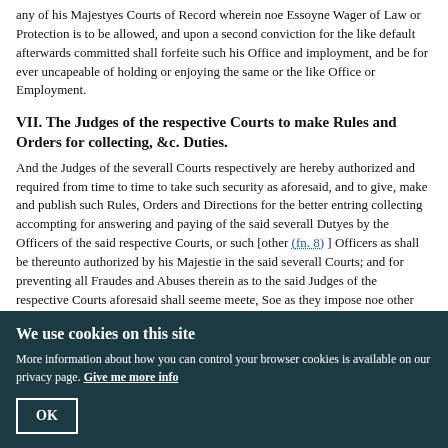any of his Majestyes Courts of Record wherein noe Essoyne Wager of Law or Protection is to be allowed, and upon a second conviction for the like default afterwards committed shall forfeite such his Office and imployment, and be for ever uncapeable of holding or enjoying the same or the like Office or Employment.
VII. The Judges of the respective Courts to make Rules and Orders for collecting, &c. Duties.
And the Judges of the severall Courts respectively are hereby authorized and required from time to time to take such security as aforesaid, and to give, make and publish such Rules, Orders and Directions for the better entring collecting accompting for answering and paying of the said severall Dutyes by the Officers of the said respective Courts, or such [other (fn. 8) ] Officers as shall be thereunto authorized by his Majestie in the said severall Courts; and for preventing all Fraudes and Abuses therein as to the said Judges of the respective Courts aforesaid shall seeme meete, Soe as they impose noe other Forfeitures or Penalties then are contained in this Act.
VIII. Proviso respecting Criminal Proceedings and Suits in
We use cookies on this site
More information about how you can control your browser cookies is available on our privacy page. Give me more info